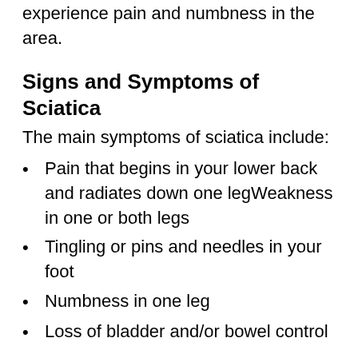spine, or tumors are present, you may also experience pain and numbness in the area.
Signs and Symptoms of Sciatica
The main symptoms of sciatica include:
Pain that begins in your lower back and radiates down one legWeakness in one or both legs
Tingling or pins and needles in your foot
Numbness in one leg
Loss of bladder and/or bowel control
Diagnosing Sciatica
To begin with, your doctor will run through your symptoms. They will ask you if you're